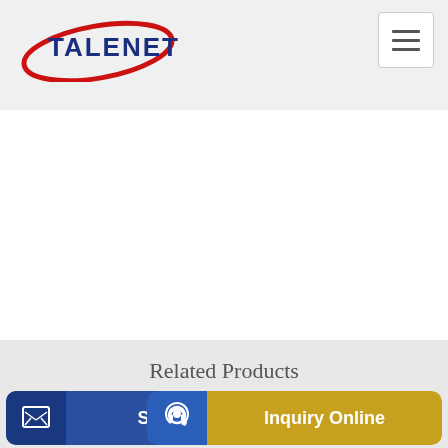[Figure (logo): Talenet logo with red ellipse and blue text]
Related Products
Vic concrete pump blows out injuring four Wollondilly
Qatari Concrete Mixer Concrete Pump Buyers and Buying Leads
p gla
Send Message
Inquiry Online